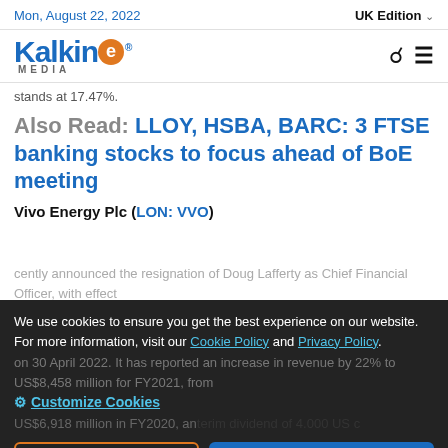Mon, August 22, 2022 | UK Edition
[Figure (logo): Kalkine Media logo with orange E icon and search/menu icons]
stands at 17.47%.
Also Read: LLOY, HSBA, BARC: 3 FTSE banking stocks to focus ahead of BoE meeting
Vivo Energy Plc (LON: VVO)
We use cookies to ensure you get the best experience on our website. For more information, visit our Cookie Policy and Privacy Policy.
cently announced the resignation of Doug Lafferty as Chief Financial Officer, with effect
⚙ Customize Cookies
on 30 April 2022. It has reported an increase in revenue by 22% to US$8,458 million for FY2021, from US$6,918 million in FY2020, an interim dividend of 4.000 US cents payable on 24 June 2022.
Decline | Accept